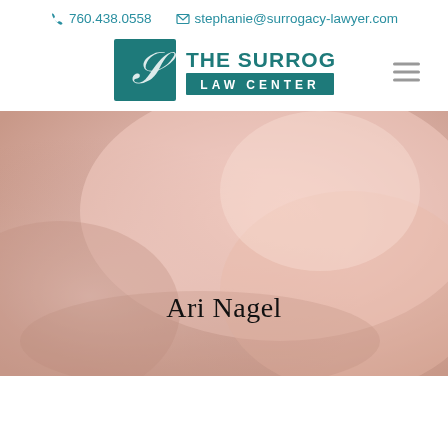📞 760.438.0558  ✉ stephanie@surrogacy-lawyer.com
[Figure (logo): The Surrogacy Law Center logo with teal square containing stylized S and text THE SURROGACY LAW CENTER]
[Figure (photo): Soft focus close-up photo of a newborn baby in pink/peach tones serving as hero background image]
Ari Nagel